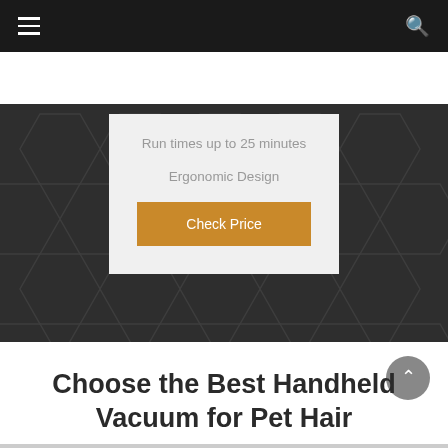Navigation bar with hamburger menu and search icon
[Figure (screenshot): Dark hero banner with hexagon pattern background and a light gray feature card in center showing product features: 'Run times up to 25 minutes', 'Ergonomic Design', and an orange 'Check Price' button]
Choose the Best Handheld Vacuum for Pet Hair